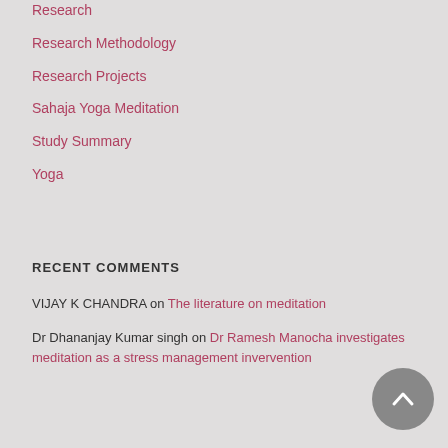Research
Research Methodology
Research Projects
Sahaja Yoga Meditation
Study Summary
Yoga
RECENT COMMENTS
VIJAY K CHANDRA on The literature on meditation
Dr Dhananjay Kumar singh on Dr Ramesh Manocha investigates meditation as a stress management invervention